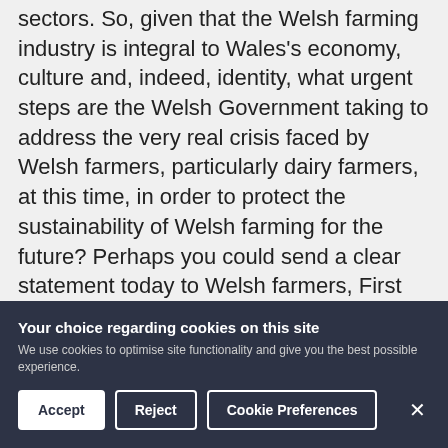sectors. So, given that the Welsh farming industry is integral to Wales's economy, culture and, indeed, identity, what urgent steps are the Welsh Government taking to address the very real crisis faced by Welsh farmers, particularly dairy farmers, at this time, in order to protect the sustainability of Welsh farming for the future? Perhaps you could send a clear statement today to Welsh farmers, First Minister, by reinforcing the message that they are also key workers, and allowing them to access funding under the economic resilience fund.
27  Last week, the Welsh Government restricted the eligibility of those who could claim £10,000 in
Your choice regarding cookies on this site
We use cookies to optimise site functionality and give you the best possible experience.